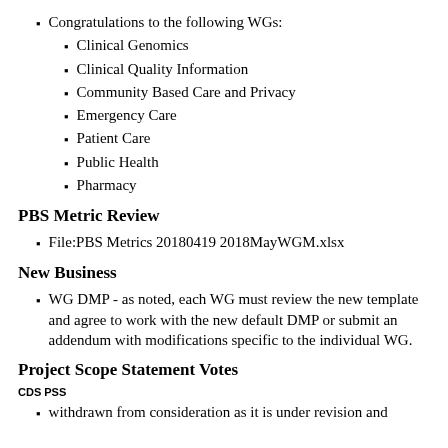Congratulations to the following WGs:
Clinical Genomics
Clinical Quality Information
Community Based Care and Privacy
Emergency Care
Patient Care
Public Health
Pharmacy
PBS Metric Review
File:PBS Metrics 20180419 2018MayWGM.xlsx
New Business
WG DMP - as noted, each WG must review the new template and agree to work with the new default DMP or submit an addendum with modifications specific to the individual WG.
Project Scope Statement Votes
CDS PSS
withdrawn from consideration as it is under revision and